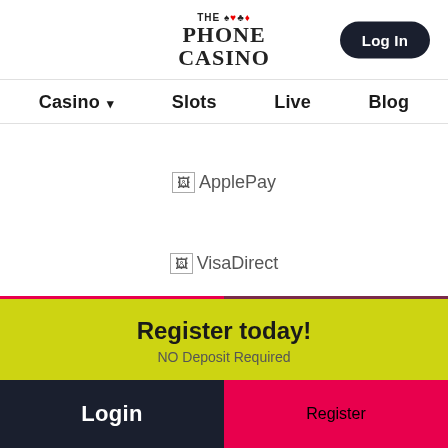[Figure (logo): The Phone Casino logo with card suits (spade, heart, club, diamond) and serif text]
Log In
Casino ▾   Slots   Live   Blog
[Figure (other): ApplePay payment method broken image placeholder with alt text 'ApplePay']
[Figure (other): VisaDirect payment method broken image placeholder with alt text 'VisaDirect']
Register today!
NO Deposit Required
Login
Register